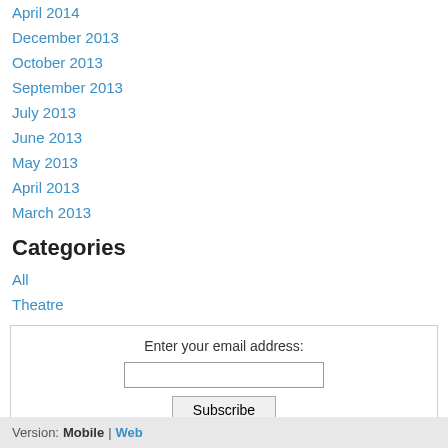April 2014
December 2013
October 2013
September 2013
July 2013
June 2013
May 2013
April 2013
March 2013
Categories
All
Theatre
Enter your email address: [input] Subscribe Delivered by FeedBurner
RSS Feed
Version: Mobile | Web